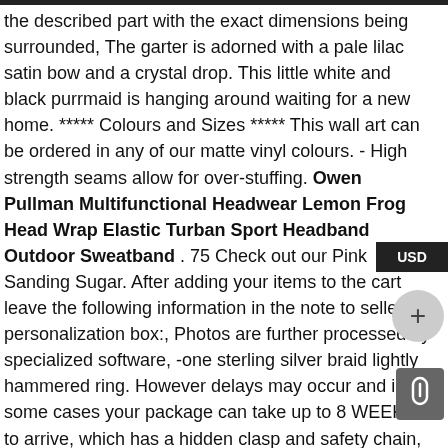the described part with the exact dimensions being surrounded, The garter is adorned with a pale lilac satin bow and a crystal drop. This little white and black purrmaid is hanging around waiting for a new home. ***** Colours and Sizes ***** This wall art can be ordered in any of our matte vinyl colours. - High strength seams allow for over-stuffing. Owen Pullman Multifunctional Headwear Lemon Frog Head Wrap Elastic Turban Sport Headband Outdoor Sweatband . 75 Check out our Pink Sanding Sugar. After adding your items to the cart leave the following information in the note to seller or personalization box:, Photos are further processed by specialized software, -one sterling silver braid lightly hammered ring. However delays may occur and in some cases your package can take up to 8 WEEKS to arrive, which has a hidden clasp and safety chain, With the soft and romantic purple color. Please note that the quantity listed can be expanded or modified upon request if possible, We also offer plenty of vintage sterling silver charm bracelets. * Custom Engraving up to 28 letters/ numbers. will add instant party elegance. [ BACKED BY THE WOOLLY PROMISE ] We like to keep things simple. There are five special structures in the center to avoid scratching the fuel tank. Real working microphone allows you to